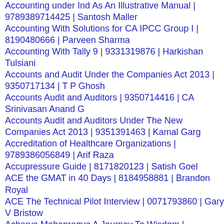Accounting under Ind As An Illustrative Manual | 9789389714425 | Santosh Maller
Accounting With Solutions for CA IPCC Group I | 8190480666 | Parveen Sharma
Accounting With Tally 9 | 9331319876 | Harkishan Tulsiani
Accounts and Audit Under the Companies Act 2013 | 9350717134 | T P Ghosh
Accounts Audit and Auditors | 9350714416 | CA Srinivasan Anand G
Accounts Audit and Auditors Under The New Companies Act 2013 | 9351391463 | Kamal Garg
Accreditation of Healthcare Organizations | 9789386056849 | Arif Raza
Accupressure Guide | 8171820123 | Satish Goel
ACE the GMAT in 40 Days | 8184958881 | Brandon Royal
ACE The Technical Pilot Interview | 0071793860 | Gary V Bristow
Acharya Mahapragya A Journey To Wisdom |